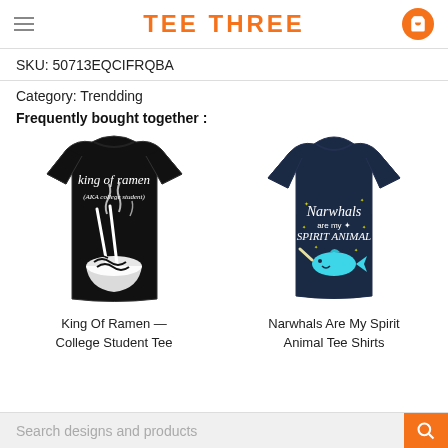TEE THREE
SKU: 50713EQCIFRQBA
Category: Trendding
Frequently bought together :
[Figure (photo): Black t-shirt showing back design: 'king of ramen (AKA college student)' with bowl of ramen and chopsticks]
King Of Ramen — College Student Tee
[Figure (photo): Navy blue women's t-shirt with 'Narwhals are my Spirit Animal' text and cartoon narwhal]
Narwhals Are My Spirit Animal Tee Shirts
Search designs and products